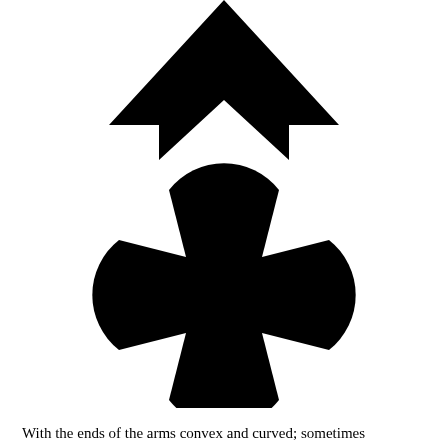[Figure (illustration): Two heraldic symbols on a white background. Top: a black broad arrow / pheon (arrowhead pointing upward with a notched tail). Bottom: a black Maltese cross (cross with convex curved ends on each arm).]
With the ends of the arms convex and curved; sometimes